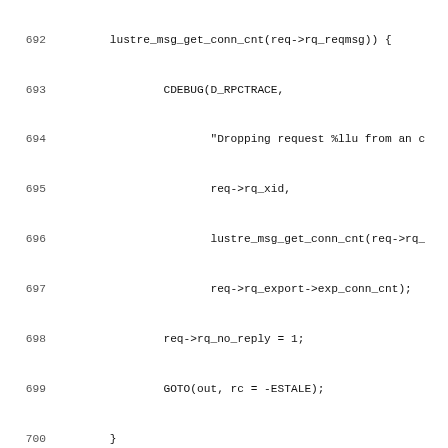Source code listing lines 692-723, showing C code for lustre filesystem request handling including tgt_request_handle function